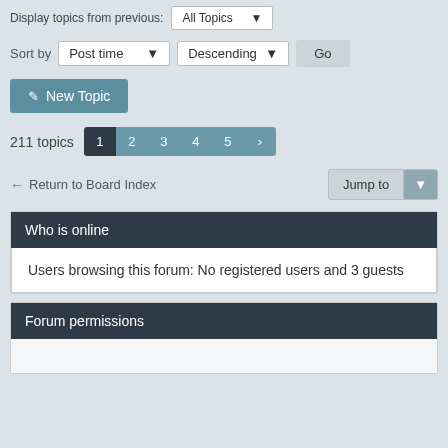Display topics from previous: All Topics
Sort by   Post time ▾   Descending ▾   Go
✏ New Topic
211 topics   1  2  3  4  5  ›
← Return to Board Index   Jump to ▾
Who is online
Users browsing this forum: No registered users and 3 guests
Forum permissions